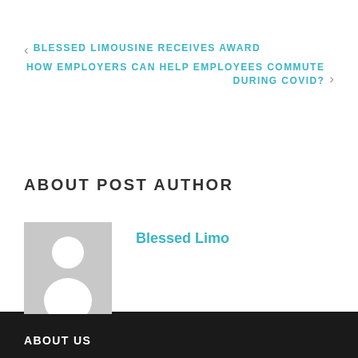< BLESSED LIMOUSINE RECEIVES AWARD
HOW EMPLOYERS CAN HELP EMPLOYEES COMMUTE DURING COVID? >
ABOUT POST AUTHOR
Blessed Limo
[Figure (illustration): Generic user avatar placeholder image — gray background with white silhouette of a person]
ABOUT US